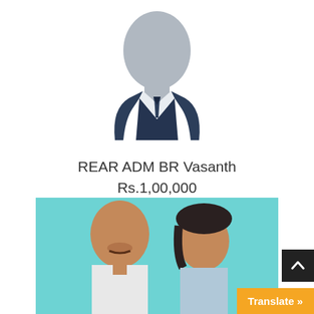[Figure (illustration): Generic placeholder avatar illustration of a person in a dark suit with tie, grey silhouette face]
REAR ADM BR Vasanth
Rs.1,00,000
[Figure (photo): Photo of two people (a man and a woman) against a light teal/cyan background]
[Figure (other): Back to top button (dark square with upward chevron)]
[Figure (other): Translate button (orange rectangle with text 'Translate »')]